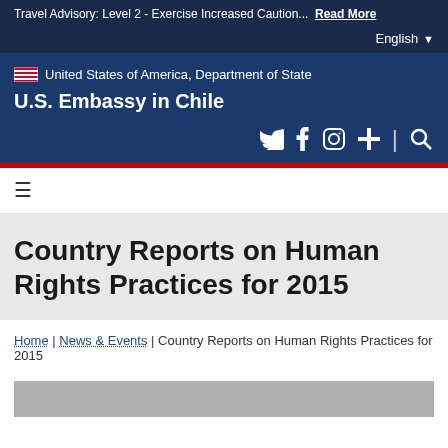Travel Advisory: Level 2 - Exercise Increased Caution... Read More
English
[Figure (logo): United States flag icon and text: United States of America, Department of State. U.S. Embassy in Chile. Social media icons: Twitter, Facebook, Instagram, Plus, Search.]
≡
Country Reports on Human Rights Practices for 2015
Home | News & Events | Country Reports on Human Rights Practices for 2015